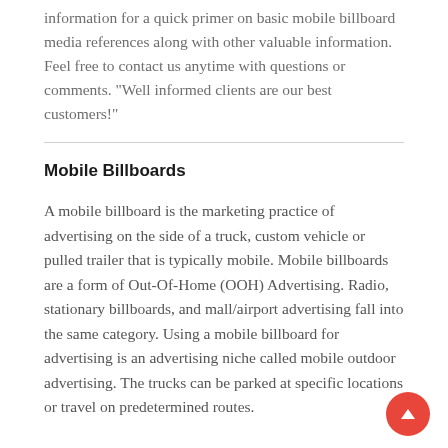information for a quick primer on basic mobile billboard media references along with other valuable information. Feel free to contact us anytime with questions or comments. “Well informed clients are our best customers!”
Mobile Billboards
A mobile billboard is the marketing practice of advertising on the side of a truck, custom vehicle or pulled trailer that is typically mobile. Mobile billboards are a form of Out-Of-Home (OOH) Advertising. Radio, stationary billboards, and mall/airport advertising fall into the same category. Using a mobile billboard for advertising is an advertising niche called mobile outdoor advertising. The trucks can be parked at specific locations or travel on predetermined routes.